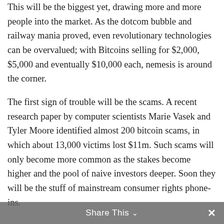This will be the biggest yet, drawing more and more people into the market. As the dotcom bubble and railway mania proved, even revolutionary technologies can be overvalued; with Bitcoins selling for $2,000, $5,000 and eventually $10,000 each, nemesis is around the corner.
The first sign of trouble will be the scams. A recent research paper by computer scientists Marie Vasek and Tyler Moore identified almost 200 bitcoin scams, in which about 13,000 victims lost $11m. Such scams will only become more common as the stakes become higher and the pool of naive investors deeper. Soon they will be the stuff of mainstream consumer rights phone-ins.